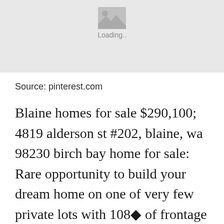[Figure (photo): Image loading placeholder with grey background, image icon, and 'Loading..' text]
Source: pinterest.com
Blaine homes for sale $290,100; 4819 alderson st #202, blaine, wa 98230 birch bay home for sale: Rare opportunity to build your dream home on one of very few private lots with 108◆ of frontage to soak in spectacular views across drayton harbor, of